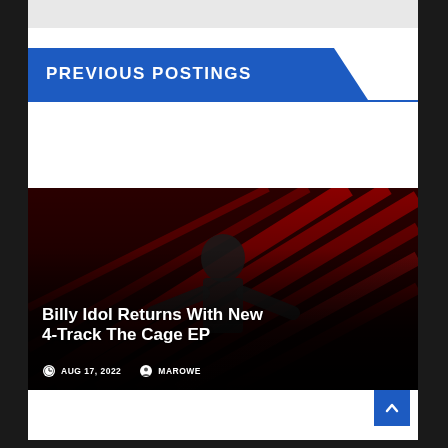PREVIOUS POSTINGS
[Figure (photo): Billy Idol in black leather jacket performing on stage with arms outstretched against dramatic red ray background]
Billy Idol Returns With New 4-Track The Cage EP
AUG 17, 2022   MAROWE
[Figure (photo): Indoor scene with a large trophy cup visible and people in warm orange/red lighting]